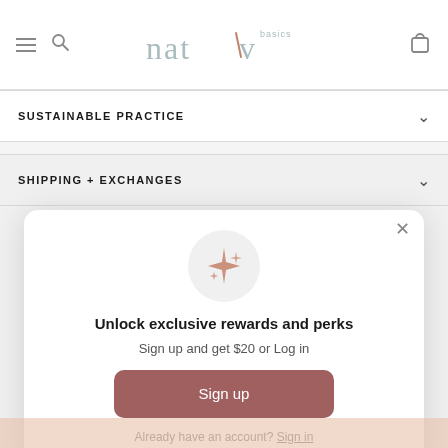nat'v basics — navigation header with hamburger menu, search, logo, and bag icon
SUSTAINABLE PRACTICE
SHIPPING + EXCHANGES
[Figure (screenshot): Modal popup with sparkle icon, 'Unlock exclusive rewards and perks' title, 'Sign up and get $20 or Log in' subtitle, a Sign up button, and 'Already have an account? Sign in' footer link]